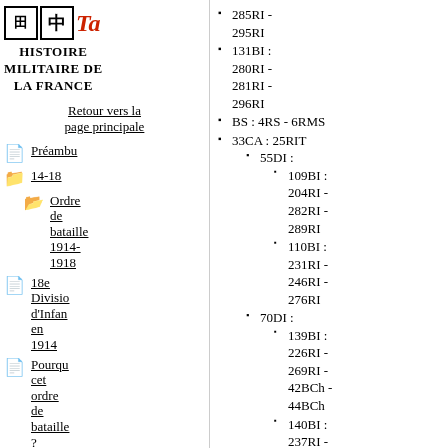Histoire militaire de la France
Retour vers la page principale
Préambu
14-18
Ordre de bataille 1914-1918
18e Division d'Infanterie en 1914
Pourquoi cet ordre de bataille ?
Histoire des...
285RI - 295RI
131BI : 280RI - 281RI - 296RI
BS : 4RS - 6RMS
33CA : 25RIT
55DI :
109BI : 204RI - 282RI - 289RI
110BI : 231RI - 246RI - 276RI
70DI :
139BI : 226RI - 269RI - 42BCh - 44BCh
140BI : 237RI - 279RI - 360RI
77DI :